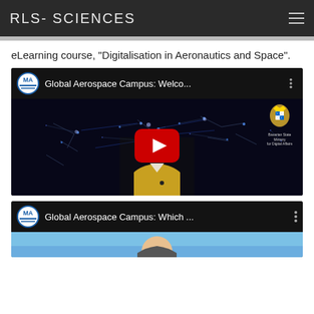RLS- SCIENCES
eLearning course, "Digitalisation in Aeronautics and Space".
[Figure (screenshot): YouTube video thumbnail titled 'Global Aerospace Campus: Welco...' showing a woman in a yellow jacket presenting in front of a world network map, with a YouTube play button overlay and a Bavarian State Ministry crest in the top right.]
[Figure (screenshot): YouTube video thumbnail titled 'Global Aerospace Campus: Which ...' showing a man, partially visible, with a blue sky background.]